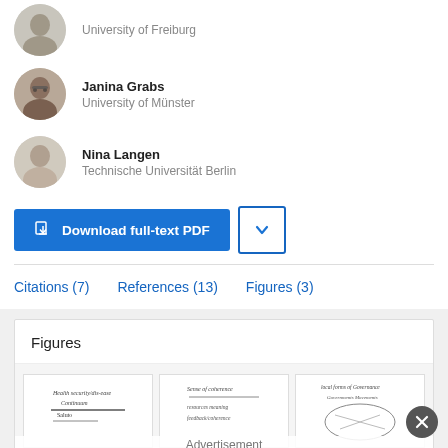[Figure (photo): Circular avatar photo of author at University of Freiburg (partially visible at top)]
University of Freiburg
[Figure (photo): Circular avatar photo of Janina Grabs]
Janina Grabs
University of Münster
[Figure (photo): Circular avatar photo of Nina Langen]
Nina Langen
Technische Universität Berlin
Download full-text PDF
Citations (7)   References (13)   Figures (3)
Figures
[Figure (illustration): Three small handwritten-style figure thumbnails showing health-related diagrams]
Advertisement